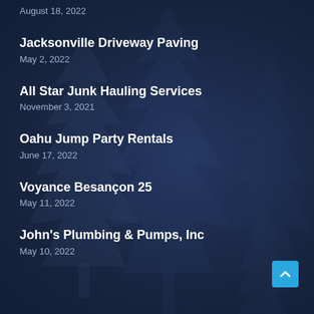August 18, 2022
Jacksonville Driveway Paving
May 2, 2022
All Star Junk Hauling Services
November 3, 2021
Oahu Jump Party Rentals
June 17, 2022
Voyance Besançon 25
May 11, 2022
John's Plumbing & Pumps, Inc
May 10, 2022